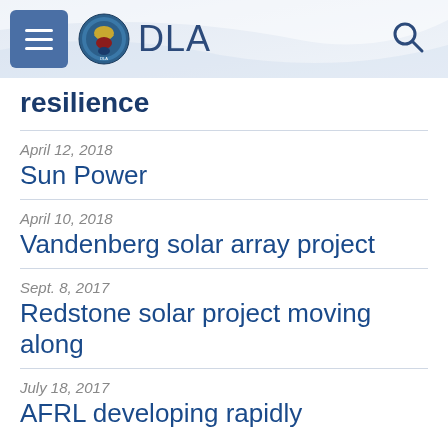DLA
resilience
April 12, 2018
Sun Power
April 10, 2018
Vandenberg solar array project
Sept. 8, 2017
Redstone solar project moving along
July 18, 2017
AFRL developing rapidly